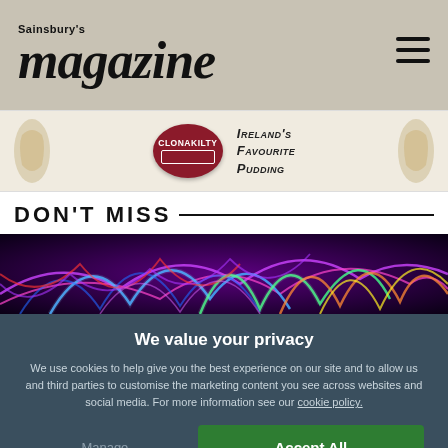Sainsbury's magazine
[Figure (illustration): Clonakilty advertisement banner with circular red logo and text: Ireland's Favourite Pudding]
DON'T MISS
[Figure (photo): Colorful neon light strands on dark purple background]
We value your privacy
We use cookies to help give you the best experience on our site and to allow us and third parties to customise the marketing content you see across websites and social media. For more information see our cookie policy.
Manage Preferences
Accept All Cookies